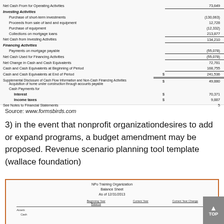| Item | $ | Amount |
| --- | --- | --- |
| Net Cash From for Operating Activities |  | 73,649 |
| Investing Activities |  |  |
| Purchase of short-term investments |  | (130,063) |
| Proceeds from sale of land and equipment |  | 12,728 |
| Purchase of equipment |  | (12,332) |
| Collections on mortgage loans |  | 213,877 |
| Net Cash from Investing Activities |  | 134,210 |
| Financing Activities |  |  |
| Payments on mortgage payable |  | (55,078) |
| Net Cash Used for Financing Activities |  | (55,078) |
| Net Change in Cash and Cash Equivalents |  | 72,781 |
| Cash and Cash Equivalents at Beginning of Period |  | 168,755 |
| Cash and Cash Equivalents at End of Period | $ | 241,536 |
| Supplemental Disclosure of Cash Flow Information and Non-Cash Financing Activities |  |  |
| Acquisition of home under construction through accounts payable | $ | 49,880 |
| Cash Payments for |  |  |
| Interest | $ | 70,371 |
| Income taxes | $ | 9,887 |
| See Notes to Financial Statements |  | 5 |
Source: www.formsbirds.com
3) in the event that nonprofit organizationdesires to add or expand programs, a budget amendment may be proposed. Revenue scenario planning tool template (wallace foundation)
[Figure (screenshot): Screenshot of NPo Training Organization Balance Sheet with columns for Beginning Year Balance, Current Year, and Current Year Change showing Assets section with Cash row]